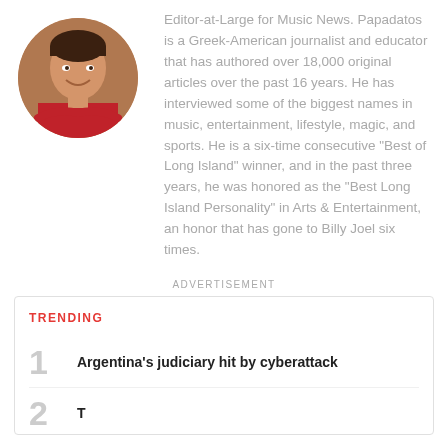[Figure (photo): Circular portrait photo of a young man in a red shirt, smiling, arms crossed]
Editor-at-Large for Music News. Papadatos is a Greek-American journalist and educator that has authored over 18,000 original articles over the past 16 years. He has interviewed some of the biggest names in music, entertainment, lifestyle, magic, and sports. He is a six-time consecutive "Best of Long Island" winner, and in the past three years, he was honored as the "Best Long Island Personality" in Arts & Entertainment, an honor that has gone to Billy Joel six times.
ADVERTISEMENT
TRENDING
1 Argentina's judiciary hit by cyberattack
2 [partially visible]